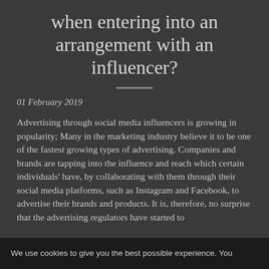when entering into an arrangement with an influencer?
01 February 2019
Advertising through social media influencers is growing in popularity; Many in the marketing industry believe it to be one of the fastest growing types of advertising. Companies and brands are tapping into the influence and reach which certain individuals' have, by collaborating with them through their social media platforms, such as Instagram and Facebook, to advertise their brands and products. It is, therefore, no surprise that the advertising regulators have started to
We use cookies to give you the best possible experience. You